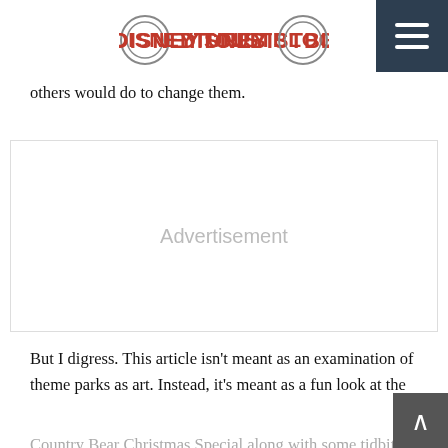DISNEY TOURIST BLOG
others would do to change them.
[Figure (other): Advertisement placeholder block]
But I digress. This article isn't meant as an examination of theme parks as art. Instead, it's meant as a fun look at the Country Bear Christmas Special along with some tidbits about the shows.